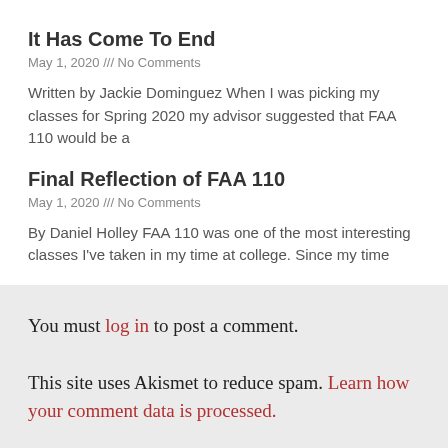It Has Come To End
May 1, 2020 /// No Comments
Written by Jackie Dominguez When I was picking my classes for Spring 2020 my advisor suggested that FAA 110 would be a
Final Reflection of FAA 110
May 1, 2020 /// No Comments
By Daniel Holley FAA 110 was one of the most interesting classes I've taken in my time at college. Since my time
You must log in to post a comment.
This site uses Akismet to reduce spam. Learn how your comment data is processed.